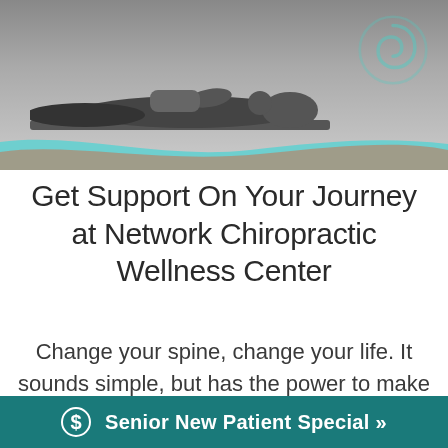[Figure (photo): Black and white photo of a person lying face-up on a chiropractic table, receiving treatment. A teal spiral logo is visible in the upper right corner. Decorative teal and terracotta wave bands overlay the bottom of the photo.]
Get Support On Your Journey at Network Chiropractic Wellness Center
Change your spine, change your life. It sounds simple, but has the power to make more of an impact than you've ev
$ Senior New Patient Special »